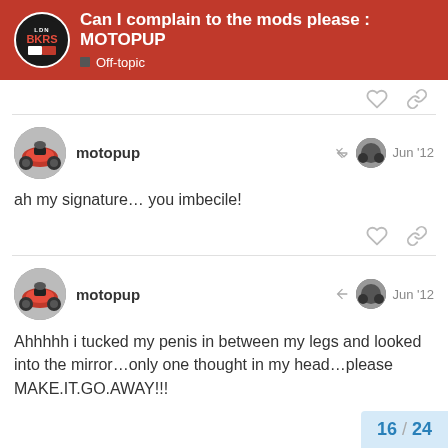Can I complain to the mods please : MOTOPUP — Off-topic
ah my signature… you imbecile!
Ahhhhh i tucked my penis in between my legs and looked into the mirror…only one thought in my head…please MAKE.IT.GO.AWAY!!!
16 / 24